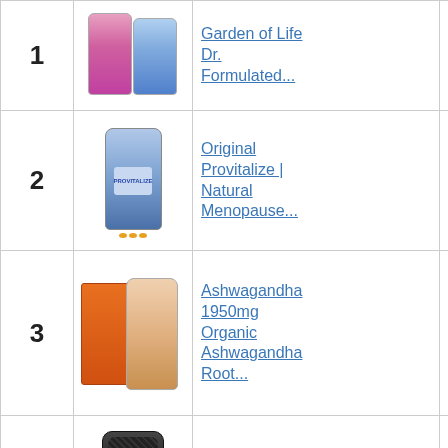| # | Image | Product | Score | Action |
| --- | --- | --- | --- | --- |
| 1 | [image] | Garden of Life Dr. Formulated... | 8.25 | B A |
| 2 | [image] | Original Provitalize | Natural Menopause... | 8.00 | B A |
| 3 | [image] | Ashwagandha 1950mg Organic Ashwagandha Root... | 9.90 | B A |
| 4 | [image] | Waist Trainer for Women | 9.10 | B A |